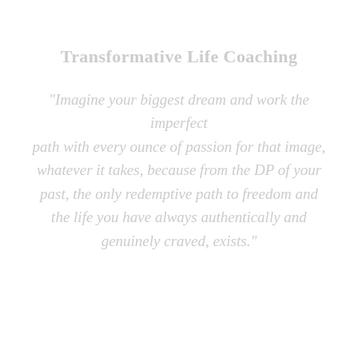Transformative Life Coaching
"Imagine your biggest dream and work the imperfect path with every ounce of passion for that image, whatever it takes, because from the DP of your past, the only redemptive path to freedom and the life you have always authentically and genuinely craved, exists."